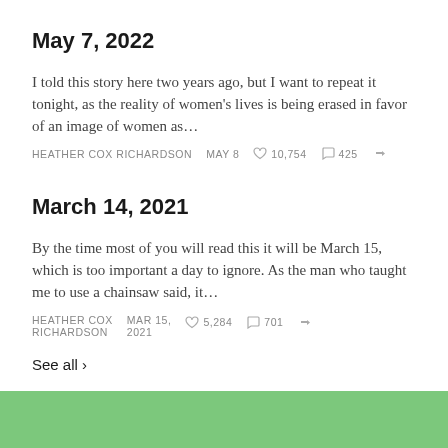May 7, 2022
I told this story here two years ago, but I want to repeat it tonight, as the reality of women's lives is being erased in favor of an image of women as…
HEATHER COX RICHARDSON  MAY 8  ♡ 10,754  ○ 425
March 14, 2021
By the time most of you will read this it will be March 15, which is too important a day to ignore. As the man who taught me to use a chainsaw said, it…
HEATHER COX RICHARDSON  MAR 15, 2021  ♡ 5,284  ○ 701
See all ›
Ready for more?